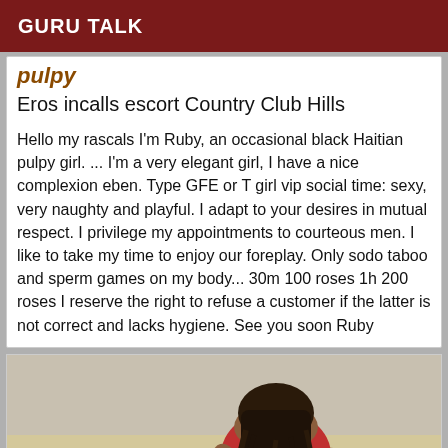GURU TALK
Eros incalls escort Country Club Hills
Hello my rascals I'm Ruby, an occasional black Haitian pulpy girl. ... I'm a very elegant girl, I have a nice complexion eben. Type GFE or T girl vip social time: sexy, very naughty and playful. I adapt to your desires in mutual respect. I privilege my appointments to courteous men. I like to take my time to enjoy our foreplay. Only sodo taboo and sperm games on my body... 30m 100 roses 1h 200 roses I reserve the right to refuse a customer if the latter is not correct and lacks hygiene. See you soon Ruby
[Figure (photo): A person with long dark hair seen from behind, sitting on a beach wearing a red top, with sand and water/towel visible]